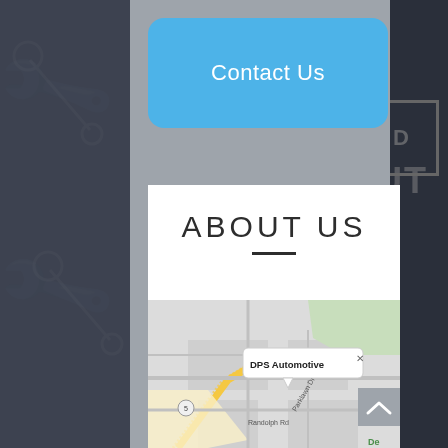Contact Us
ABOUT US
[Figure (map): Google Maps view showing DPS Automotive location marker near Parklawn Dr and Randolph Rd intersection]